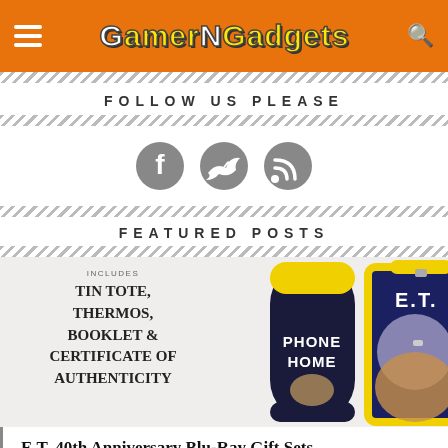GamerNGadgets
FOLLOW US PLEASE
[Figure (illustration): Three social media icons: Facebook, Twitter, RSS feed]
FEATURED POSTS
[Figure (photo): E.T. 40th Anniversary Blu-Ray gift set product photo showing a thermos labeled 'Phone Home' and an E.T. branded tin lunch box with yellow trim. Left side shows text: INCLUDES TIN TOTE, THERMOS, BOOKLET & CERTIFICATE OF AUTHENTICITY]
E.T. 40th Anniversary Blu-Ray Gift Sets Comes With a Lunch Box, Thermos, Action Figure, and More